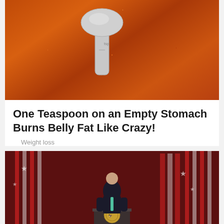[Figure (photo): Close-up photo of orange-red spice powder with a metal measuring spoon resting on top]
One Teaspoon on an Empty Stomach Burns Belly Fat Like Crazy!
Weight loss
[Figure (photo): Photo of a person in a dark suit standing at a presidential podium with American and Australian flags in the background]